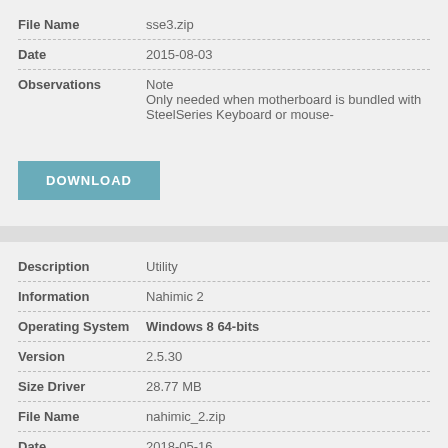| Field | Value |
| --- | --- |
| File Name | sse3.zip |
| Date | 2015-08-03 |
| Observations | Note
Only needed when motherboard is bundled with SteelSeries Keyboard or mouse- |
DOWNLOAD
| Field | Value |
| --- | --- |
| Description | Utility |
| Information | Nahimic 2 |
| Operating System | Windows 8 64-bits |
| Version | 2.5.30 |
| Size Driver | 28.77 MB |
| File Name | nahimic_2.zip |
| Date | 2018-05-16 |